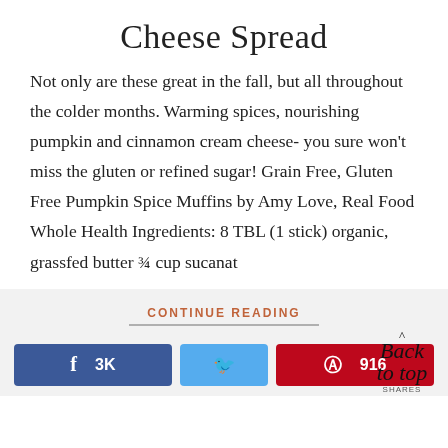Cheese Spread
Not only are these great in the fall, but all throughout the colder months. Warming spices, nourishing pumpkin and cinnamon cream cheese- you sure won't miss the gluten or refined sugar! Grain Free, Gluten Free Pumpkin Spice Muffins by Amy Love, Real Food Whole Health Ingredients: 8 TBL (1 stick) organic, grassfed butter ¾ cup sucanat
CONTINUE READING
f  3K
916